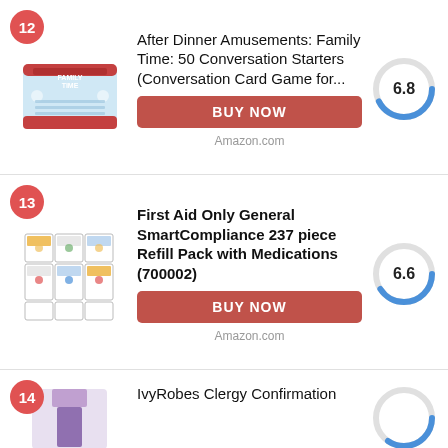[Figure (other): Product listing item 12: After Dinner Amusements Family Time card game tin, with rank badge 12, score circle 6.8, BUY NOW button, Amazon.com label]
[Figure (other): Product listing item 13: First Aid Only General SmartCompliance 237 piece Refill Pack with Medications (700002), with rank badge 13, score circle 6.6, BUY NOW button, Amazon.com label]
[Figure (other): Product listing item 14: IvyRobes Clergy Confirmation (partial view), rank badge 14, score circle partially visible]